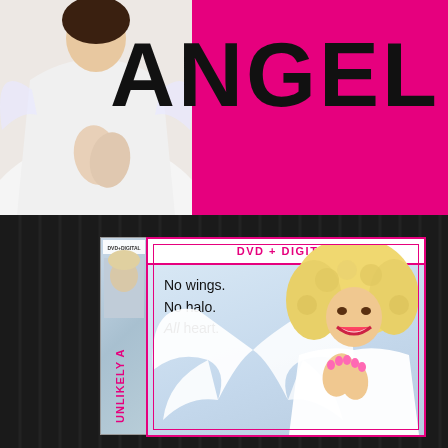[Figure (photo): Top banner: hot pink background with a woman dressed in white angel costume with hands in prayer pose on the left, and large bold black text 'ANGEL' on the right]
[Figure (photo): DVD case for 'Unlikely Angel' DVD+Digital on dark striped background. Case shows: spine with 'UNLIKELY A...' text in pink and small person thumbnail, front cover with 'DVD + DIGITAL' label at top in pink, tagline 'No wings. No halo. All heart.' in black text, large white angel wings, and a smiling blonde woman (Dolly Parton) in white with pink nail polish. Pink border on case.]